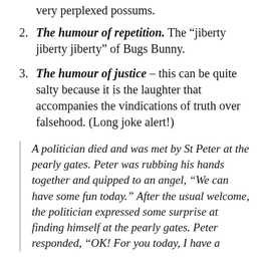very perplexed possums.
2. The humour of repetition. The “jiberty jiberty jiberty” of Bugs Bunny.
3. The humour of justice – this can be quite salty because it is the laughter that accompanies the vindications of truth over falsehood. (Long joke alert!)
A politician died and was met by St Peter at the pearly gates. Peter was rubbing his hands together and quipped to an angel, “We can have some fun today.” After the usual welcome, the politician expressed some surprise at finding himself at the pearly gates. Peter responded, “OK! For you today, I have a